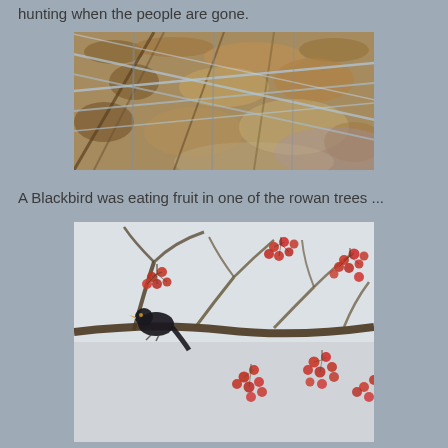hunting when the people are gone.
[Figure (photo): Close-up photo of dead leaves and branches behind or through a chain-link fence, in muted autumn browns and greys]
A Blackbird was eating fruit in one of the rowan trees ...
[Figure (photo): A blackbird perched on a branch of a rowan tree against a pale grey sky, with clusters of red berries hanging from the branches]